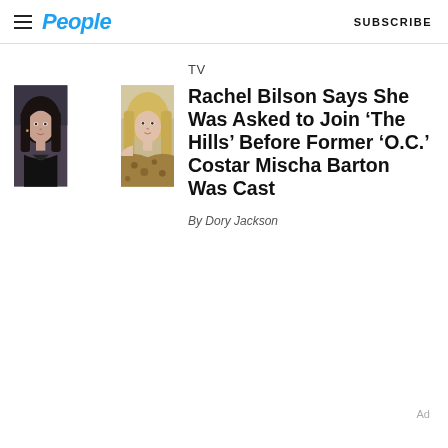People | SUBSCRIBE
[Figure (photo): Side-by-side photos of Rachel Bilson (left, dark hair, black outfit) and Mischa Barton (right, blonde hair, animal print outfit)]
TV
Rachel Bilson Says She Was Asked to Join ‘The Hills’ Before Former ‘O.C.’ Costar Mischa Barton Was Cast
By Dory Jackson